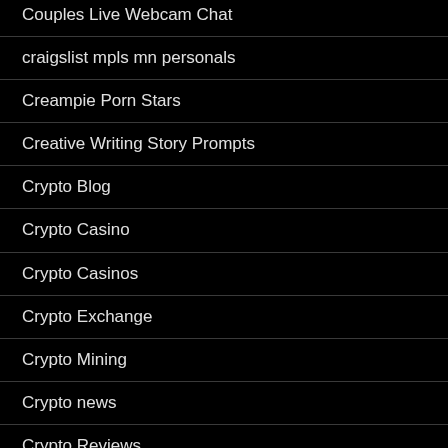Couples Live Webcam Chat
craigslist mpls mn personals
Creampie Porn Stars
Creative Writing Story Prompts
Crypto Blog
Crypto Casino
Crypto Casinos
Crypto Exchange
Crypto Mining
Crypto news
Crypto Reviews
Crypto Trading
Cryptocurrency Exchange